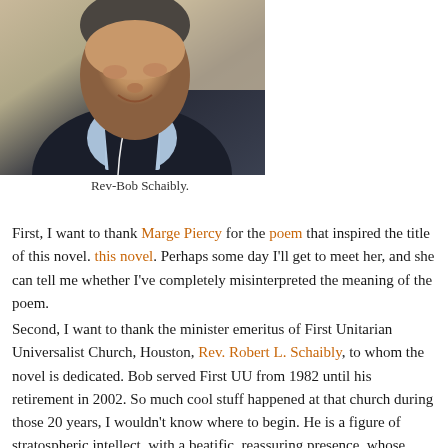[Figure (photo): Portrait photograph of Rev-Bob Schaibly, an older man smiling, wearing a dark navy sweater over a blue plaid collared shirt, with a white cord or lanyard visible.]
Rev-Bob Schaibly.
First, I want to thank Marge Piercy for the poem that inspired the title of this novel. Perhaps some day I'll get to meet her, and she can tell me whether I've completely misinterpreted the meaning of the poem.
Second, I want to thank the minister emeritus of First Unitarian Universalist Church, Houston, Rev. Robert L. Schaibly, to whom the novel is dedicated. Bob served First UU from 1982 until his retirement in 2002. So much cool stuff happened at that church during those 20 years, I wouldn't know where to begin. He is a figure of stratospheric intellect, with a beatific, reassuring presence, whose studies of zen